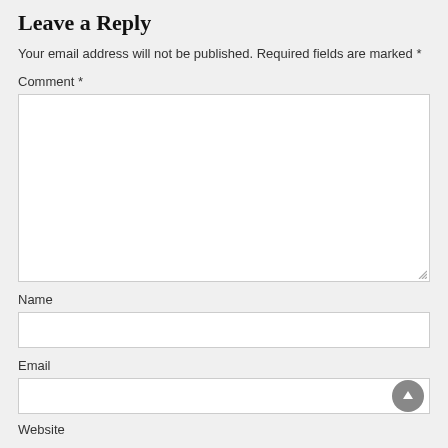Leave a Reply
Your email address will not be published. Required fields are marked *
Comment *
[Figure (other): Large empty textarea for comment input with resize handle at bottom right]
Name
[Figure (other): Single-line text input box for Name]
Email
[Figure (other): Single-line text input box for Email with circular up-arrow button on the right]
Website